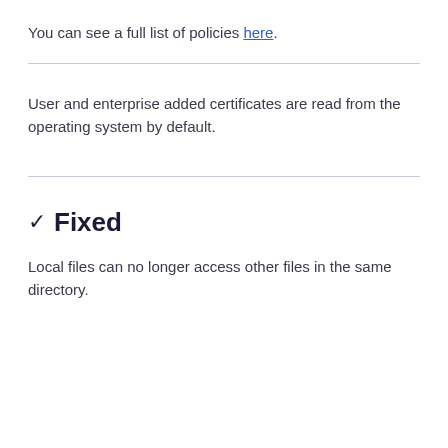You can see a full list of policies here.
User and enterprise added certificates are read from the operating system by default.
✓ Fixed
Local files can no longer access other files in the same directory.